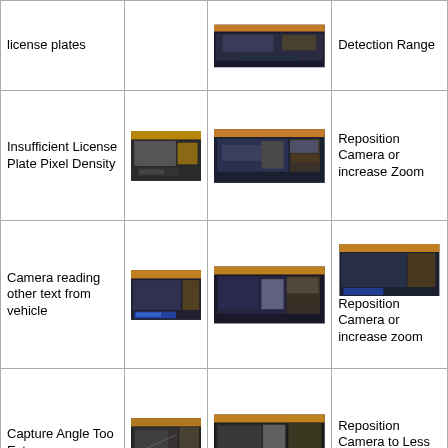| Issue | Bad Example | Good Example | Solution |
| --- | --- | --- | --- |
| license plates | [camera image] | [camera image] | Detection Range |
| Insufficient License Plate Pixel Density | [camera image] | [camera image] | Reposition Camera or increase Zoom |
| Camera reading other text from vehicle | [camera image] | [camera image] | Reposition Camera or increase zoom |
| Capture Angle Too Extreme | [camera image] | [camera image] | Reposition Camera to Less Extreme Angle |